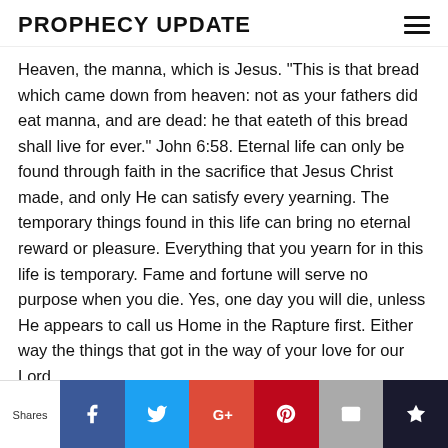PROPHECY UPDATE
Heaven, the manna, which is Jesus. "This is that bread which came down from heaven: not as your fathers did eat manna, and are dead: he that eateth of this bread shall live for ever." John 6:58. Eternal life can only be found through faith in the sacrifice that Jesus Christ made, and only He can satisfy every yearning. The temporary things found in this life can bring no eternal reward or pleasure. Everything that you yearn for in this life is temporary. Fame and fortune will serve no purpose when you die. Yes, one day you will die, unless He appears to call us Home in the Rapture first. Either way the things that got in the way of your love for our Lord